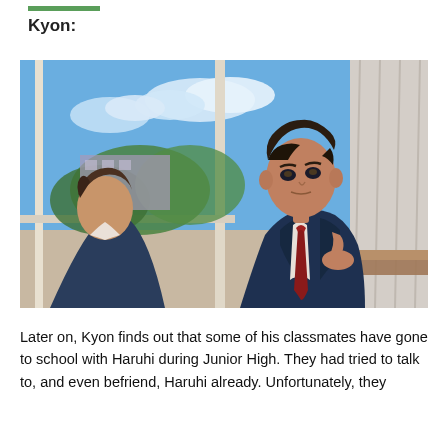Kyon:
[Figure (illustration): Anime screenshot showing two male characters in dark school uniforms inside a classroom. The character on the right has dark hair styled upward and wears a red tie, leaning on a desk. The character on the left is seen from behind. A window with a blue sky and green trees is visible in the background.]
Later on, Kyon finds out that some of his classmates have gone to school with Haruhi during Junior High. They had tried to talk to, and even befriend, Haruhi already. Unfortunately, they